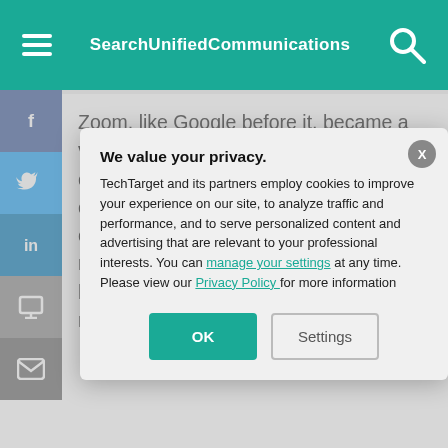SearchUnifiedCommunications
Zoom, like Google before it, became a verb in 2020, and while Zoom the company has become a dominant video conferencing player in the workplace, other video vendors have also seen their names morphed into action words. Co... hampered the us... went away in 20... massive uptake,... of choice for con...
We value your privacy.
TechTarget and its partners employ cookies to improve your experience on our site, to analyze traffic and performance, and to serve personalized content and advertising that are relevant to your professional interests. You can manage your settings at any time. Please view our Privacy Policy for more information